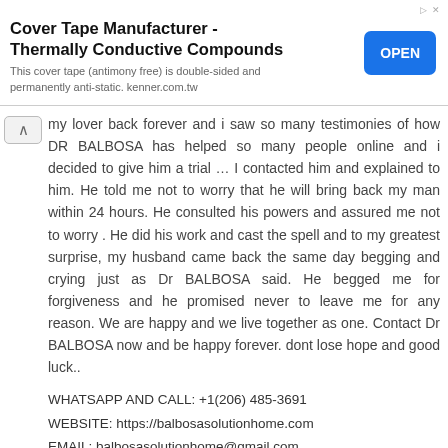[Figure (other): Advertisement banner: Cover Tape Manufacturer - Thermally Conductive Compounds with an OPEN button. Text: This cover tape (antimony free) is double-sided and permanently anti-static. kenner.com.tw]
my lover back forever and i saw so many testimonies of how DR BALBOSA has helped so many people online and i decided to give him a trial … I contacted him and explained to him. He told me not to worry that he will bring back my man within 24 hours. He consulted his powers and assured me not to worry . He did his work and cast the spell and to my greatest surprise, my husband came back the same day begging and crying just as Dr BALBOSA said. He begged me for forgiveness and he promised never to leave me for any reason. We are happy and we live together as one. Contact Dr BALBOSA now and be happy forever. dont lose hope and good luck..
WHATSAPP AND CALL: +1(206) 485-3691
WEBSITE: https://balbosasolutionhome.com
EMAIL: balbosasolutionhome@gmail.com
Reply